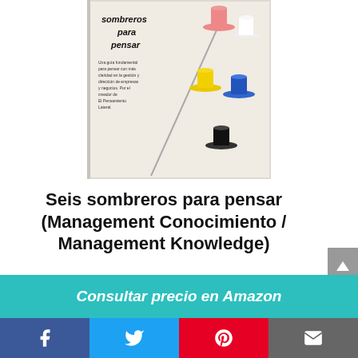[Figure (photo): Book cover of 'Seis sombreros para pensar' showing colorful hats illustration on a white/grey background]
Seis sombreros para pensar (Management Conocimiento / Management Knowledge)
Consultar precio en Amazon